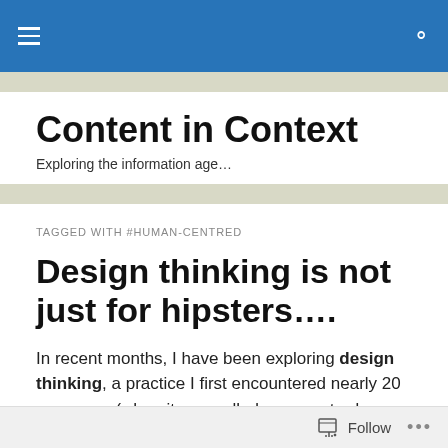Content in Context — navigation bar
Content in Context
Exploring the information age…
TAGGED WITH #HUMAN-CENTRED
Design thinking is not just for hipsters….
In recent months, I have been exploring design thinking, a practice I first encountered nearly 20 years ago (when it was called user-centred design). Whether we are talking
Follow